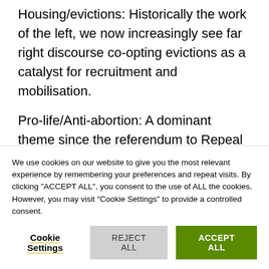Housing/evictions: Historically the work of the left, we now increasingly see far right discourse co-opting evictions as a catalyst for recruitment and mobilisation.
Pro-life/Anti-abortion: A dominant theme since the referendum to Repeal the Eighth Amendment, linked to traditional values, conservative attitudes on the role of women and the need to push back on the 'liberalisation' of Ireland.
We use cookies on our website to give you the most relevant experience by remembering your preferences and repeat visits. By clicking "ACCEPT ALL", you consent to the use of ALL the cookies. However, you may visit "Cookie Settings" to provide a controlled consent.